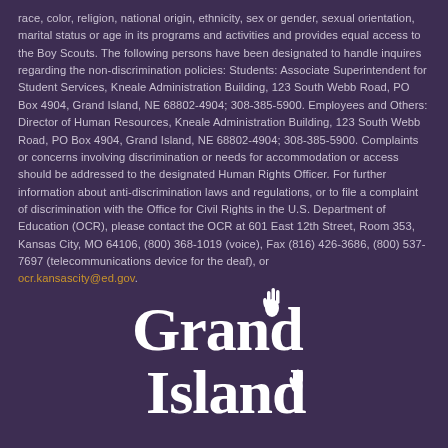race, color, religion, national origin, ethnicity, sex or gender, sexual orientation, marital status or age in its programs and activities and provides equal access to the Boy Scouts. The following persons have been designated to handle inquires regarding the non-discrimination policies: Students: Associate Superintendent for Student Services, Kneale Administration Building, 123 South Webb Road, PO Box 4904, Grand Island, NE 68802-4904; 308-385-5900. Employees and Others: Director of Human Resources, Kneale Administration Building, 123 South Webb Road, PO Box 4904, Grand Island, NE 68802-4904; 308-385-5900. Complaints or concerns involving discrimination or needs for accommodation or access should be addressed to the designated Human Rights Officer. For further information about anti-discrimination laws and regulations, or to file a complaint of discrimination with the Office for Civil Rights in the U.S. Department of Education (OCR), please contact the OCR at 601 East 12th Street, Room 353, Kansas City, MO 64106, (800) 368-1019 (voice), Fax (816) 426-3686, (800) 537-7697 (telecommunications device for the deaf), or ocr.kansascity@ed.gov.
[Figure (logo): Grand Island Public Schools logo in white on dark purple background, with stylized lettering and hand/figure motif]